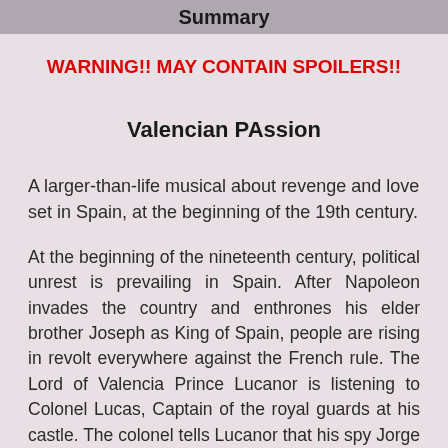Summary
WARNING!! MAY CONTAIN SPOILERS!!
Valencian PAssion
A larger-than-life musical about revenge and love set in Spain, at the beginning of the 19th century.
At the beginning of the nineteenth century, political unrest is prevailing in Spain. After Napoleon invades the country and enthrones his elder brother Joseph as King of Spain, people are rising in revolt everywhere against the French rule. The Lord of Valencia Prince Lucanor is listening to Colonel Lucas, Captain of the royal guards at his castle. The colonel tells Lucanor that his spy Jorge has divulged secret information about General Leon preparing some